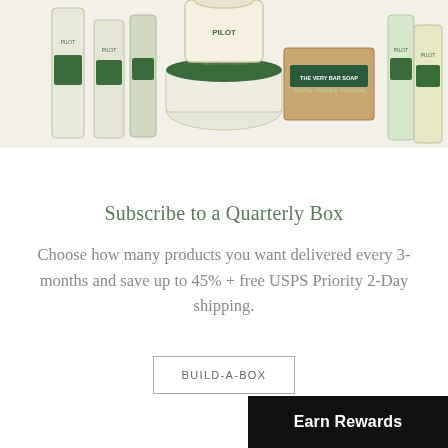[Figure (photo): Collection of Pilot Men's Grooming products including bottles, jars, and a soap box, displayed against a white background. Products feature green and white labels with the Pilot brand logo.]
Subscribe to a Quarterly Box
Choose how many products you want delivered every 3-months and save up to 45% + free USPS Priority 2-Day shipping.
BUILD-A-BOX
Earn Rewards